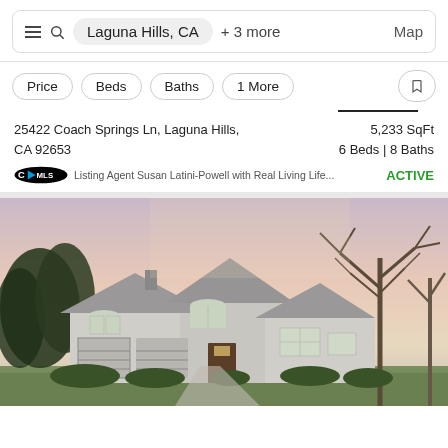Laguna Hills, CA + 3 more   Map
Price   Beds   Baths   1 More
25422 Coach Springs Ln, Laguna Hills, CA 92653
5,233 SqFt
6 Beds | 8 Baths
Listing Agent Susan Latini-Powell with Real Living Life...
ACTIVE
[Figure (photo): Exterior photo of a large two-story gray house with multiple garage doors, arched windows, and bare trees against a twilight sky]